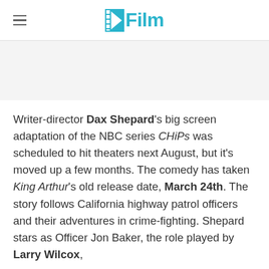/Film
Writer-director Dax Shepard's big screen adaptation of the NBC series CHiPs was scheduled to hit theaters next August, but it's moved up a few months. The comedy has taken King Arthur's old release date, March 24th. The story follows California highway patrol officers and their adventures in crime-fighting. Shepard stars as Officer Jon Baker, the role played by Larry Wilcox,